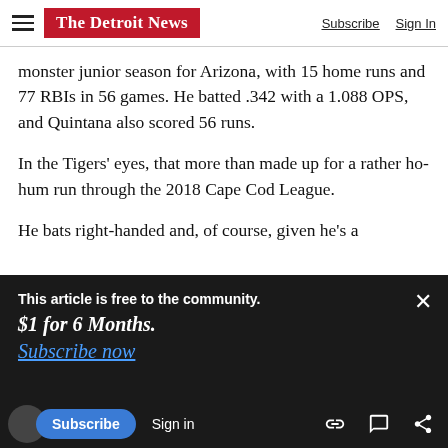The Detroit News | Subscribe Sign In
monster junior season for Arizona, with 15 home runs and 77 RBIs in 56 games. He batted .342 with a 1.088 OPS, and Quintana also scored 56 runs.
In the Tigers' eyes, that more than made up for a rather ho-hum run through the 2018 Cape Cod League.
He bats right-handed and, of course, given he's a
This article is free to the community. $1 for 6 Months. Subscribe now
had a young power-hitter named Nick
future now is their right fielder of not-for-very-